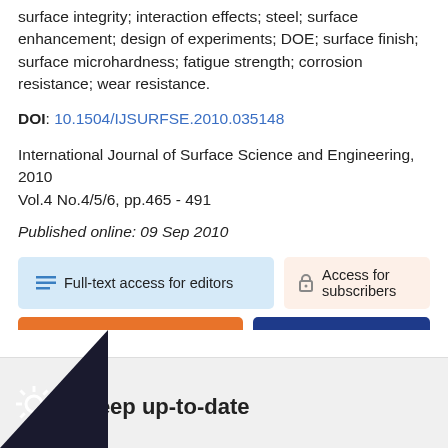surface integrity; interaction effects; steel; surface enhancement; design of experiments; DOE; surface finish; surface microhardness; fatigue strength; corrosion resistance; wear resistance.
DOI: 10.1504/IJSURFSE.2010.035148
International Journal of Surface Science and Engineering, 2010 Vol.4 No.4/5/6, pp.465 - 491
Published online: 09 Sep 2010
Full-text access for editors
Access for subscribers
Purchase this article
Comment on this article
Keep up-to-date